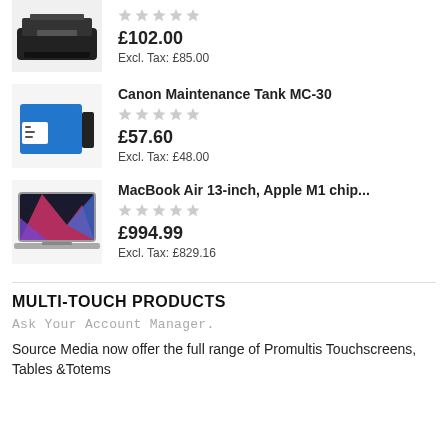[Figure (photo): HP printer product image]
£102.00
Excl. Tax: £85.00
[Figure (photo): Canon Maintenance Tank MC-30 product image]
Canon Maintenance Tank MC-30
£57.60
Excl. Tax: £48.00
[Figure (photo): MacBook Air 13-inch Apple M1 chip product image]
MacBook Air 13-inch, Apple M1 chip...
£994.99
Excl. Tax: £829.16
MULTI-TOUCH PRODUCTS
Ask Your Account Manager.
Source Media now offer the full range of Promultis Touchscreens, Tables &Totems